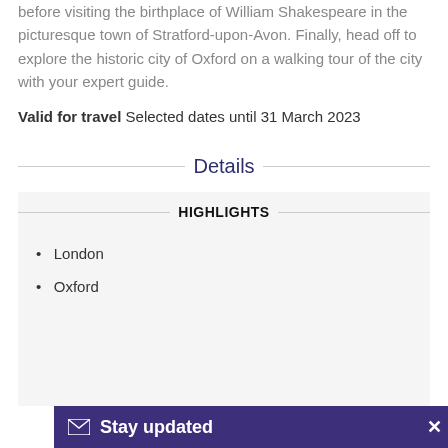before visiting the birthplace of William Shakespeare in the picturesque town of Stratford-upon-Avon. Finally, head off to explore the historic city of Oxford on a walking tour of the city with your expert guide.
Valid for travel Selected dates until 31 March 2023
Details
HIGHLIGHTS
London
Oxford
Stay updated